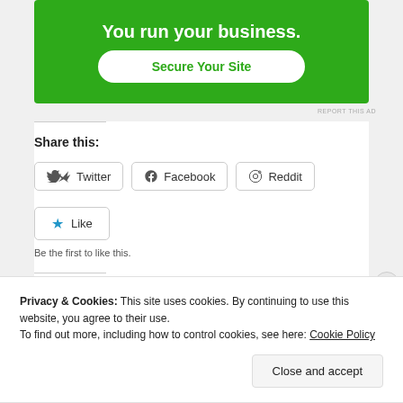[Figure (screenshot): Green advertisement banner with white bold text 'You run your business.' and a white rounded button labeled 'Secure Your Site' in green text]
REPORT THIS AD
Share this:
[Figure (screenshot): Three social share buttons: Twitter, Facebook, Reddit with icons in rounded rectangle borders]
[Figure (screenshot): Like button with blue star icon and text 'Like' in a rounded rectangle border]
Be the first to like this.
Related
Privacy & Cookies: This site uses cookies. By continuing to use this website, you agree to their use.
To find out more, including how to control cookies, see here: Cookie Policy
Close and accept